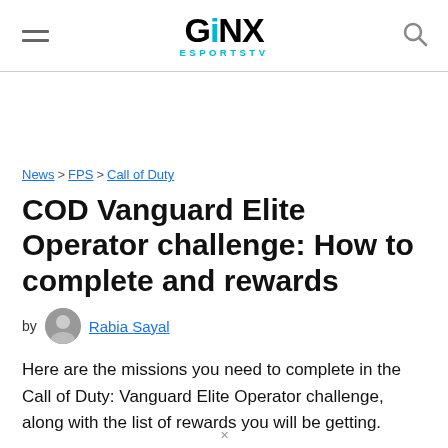GINX ESPORTSTV
News > FPS > Call of Duty
COD Vanguard Elite Operator challenge: How to complete and rewards
by Rabia Sayal
Here are the missions you need to complete in the Call of Duty: Vanguard Elite Operator challenge, along with the list of rewards you will be getting.